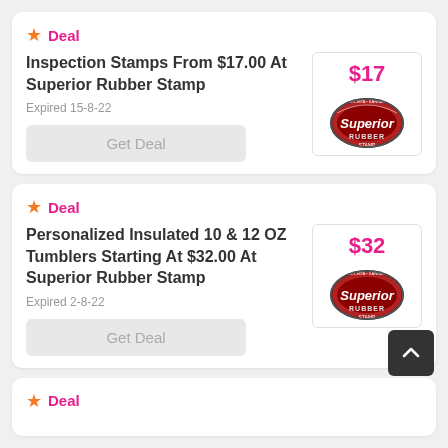Deal
Inspection Stamps From $17.00 At Superior Rubber Stamp
Expired 15-8-22
Get Deal
Deal
Personalized Insulated 10 & 12 OZ Tumblers Starting At $32.00 At Superior Rubber Stamp
Expired 2-8-22
Get Deal
Deal